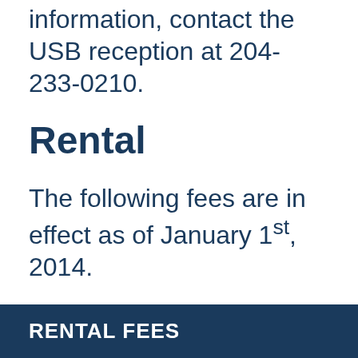information, contact the USB reception at 204-233-0210.
Rental
The following fees are in effect as of January 1st, 2014.
| RENTAL FEES |
| --- |